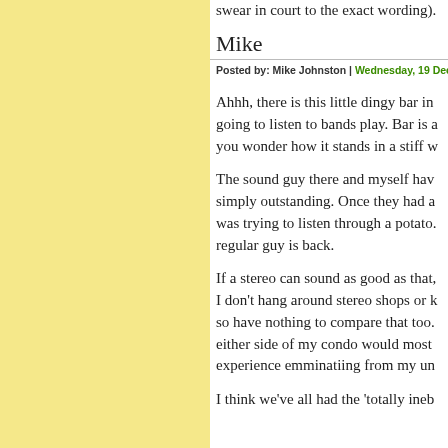swear in court to the exact wording).
Mike
Posted by: Mike Johnston | Wednesday, 19 December
Ahhh, there is this little dingy bar in going to listen to bands play. Bar is a you wonder how it stands in a stiff w
The sound guy there and myself hav simply outstanding. Once they had a was trying to listen through a potato. regular guy is back.
If a stereo can sound as good as that, I don't hang around stereo shops or k so have nothing to compare that too. either side of my condo would most experience emminatiing from my un
I think we've all had the 'totally ineb